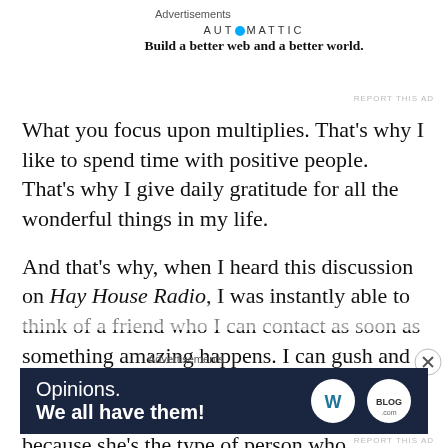Advertisements
[Figure (logo): Automattic advertisement: logo text 'AUTOMATTIC' with blue circle, tagline 'Build a better web and a better world.']
REPORT THIS AD
What you focus upon multiplies. That’s why I like to spend time with positive people. That’s why I give daily gratitude for all the wonderful things in my life.
And that’s why, when I heard this discussion on Hay House Radio, I was instantly able to think of a friend who I can contact as soon as something amazing happens. I can gush and glow, boast and bow, and do a little self-congratulatory dance in front of this friend because she’s the type of person who genuinely loves when good things
Advertisements
[Figure (screenshot): Advertisement banner with dark navy background. Text: 'Opinions. We all have them!' with WordPress and Blog.com logos on the right.]
REPORT THIS AD